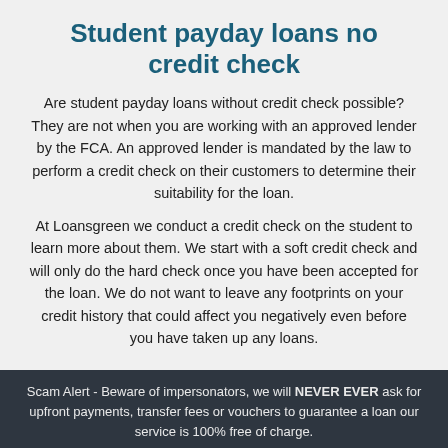Student payday loans no credit check
Are student payday loans without credit check possible? They are not when you are working with an approved lender by the FCA. An approved lender is mandated by the law to perform a credit check on their customers to determine their suitability for the loan.
At Loansgreen we conduct a credit check on the student to learn more about them. We start with a soft credit check and will only do the hard check once you have been accepted for the loan. We do not want to leave any footprints on your credit history that could affect you negatively even before you have taken up any loans.
Scam Alert - Beware of impersonators, we will NEVER EVER ask for upfront payments, transfer fees or vouchers to guarantee a loan our service is 100% free of charge.